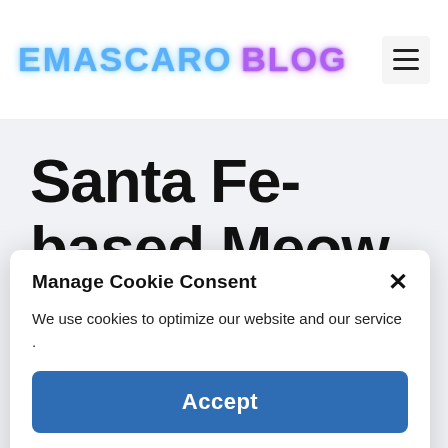EMASCARO BLOG
Santa Fe-based Meow Wolf will
Manage Cookie Consent
We use cookies to optimize our website and our service .
Accept
Cookie Policy